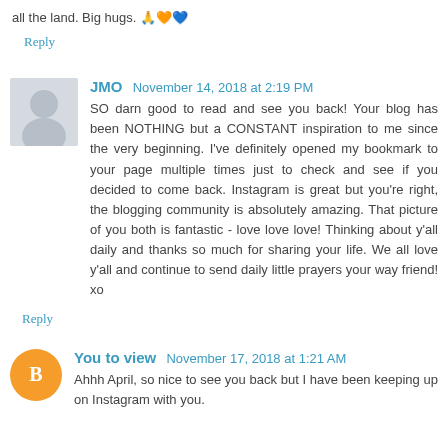all the land. Big hugs. 🙏🧡💙
Reply
JMO   November 14, 2018 at 2:19 PM
SO darn good to read and see you back! Your blog has been NOTHING but a CONSTANT inspiration to me since the very beginning. I've definitely opened my bookmark to your page multiple times just to check and see if you decided to come back. Instagram is great but you're right, the blogging community is absolutely amazing. That picture of you both is fantastic - love love love! Thinking about y'all daily and thanks so much for sharing your life. We all love y'all and continue to send daily little prayers your way friend! xo
Reply
You to view   November 17, 2018 at 1:21 AM
Ahhh April, so nice to see you back but I have been keeping up on Instagram with you.